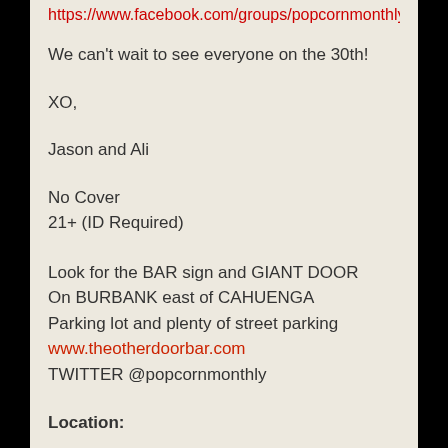https://www.facebook.com/groups/popcornmonthly
We can't wait to see everyone on the 30th!
XO,
Jason and Ali
No Cover
21+ (ID Required)
Look for the BAR sign and GIANT DOOR
On BURBANK east of CAHUENGA
Parking lot and plenty of street parking
www.theotherdoorbar.com
TWITTER @popcornmonthly
Location:
10437 Burbank Blvd